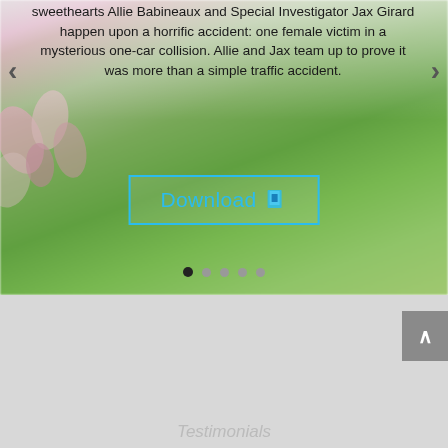[Figure (screenshot): A web page screenshot showing a book/ebook promotional banner with a blurred spring garden background (pink magnolia flowers and green lawn), navigation arrows on left and right, descriptive text about a story with characters Allie Babineaux and Special Investigator Jax Girard, a cyan-outlined Download button with an icon, pagination dots at the bottom, a gray back-to-top button on the right, and a light gray lower section.]
sweethearts Allie Babineaux and Special Investigator Jax Girard happen upon a horrific accident: one female victim in a mysterious one-car collision. Allie and Jax team up to prove it was more than a simple traffic accident.